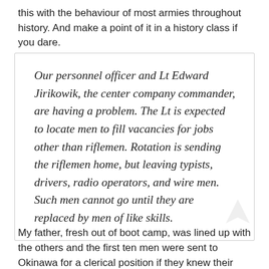this with the behaviour of most armies throughout history. And make a point of it in a history class if you dare.
Our personnel officer and Lt Edward Jirikowik, the center company commander, are having a problem. The Lt is expected to locate men to fill vacancies for jobs other than riflemen. Rotation is sending the riflemen home, but leaving typists, drivers, radio operators, and wire men. Such men cannot go until they are replaced by men of like skills.
My father, fresh out of boot camp, was lined up with the others and the first ten men were sent to Okinawa for a clerical position if they knew their alphabet, and the rest